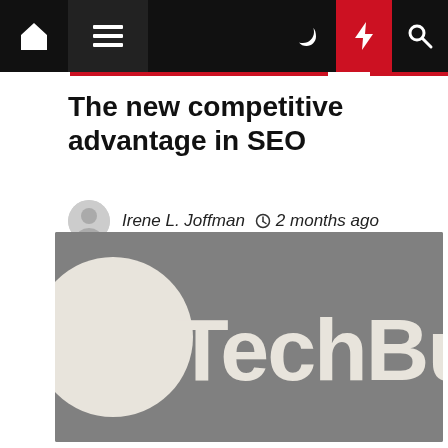Navigation bar with home, menu, moon, bolt, and search icons
The new competitive advantage in SEO
Irene L. Joffman  2 months ago
[Figure (logo): TechBul logo on grey background with partial white circle on the left and 'TechBul' text in large white rounded letters]